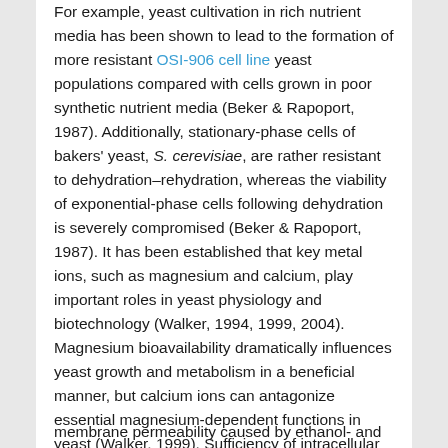For example, yeast cultivation in rich nutrient media has been shown to lead to the formation of more resistant OSI-906 cell line yeast populations compared with cells grown in poor synthetic nutrient media (Beker & Rapoport, 1987). Additionally, stationary-phase cells of bakers' yeast, S. cerevisiae, are rather resistant to dehydration–rehydration, whereas the viability of exponential-phase cells following dehydration is severely compromised (Beker & Rapoport, 1987). It has been established that key metal ions, such as magnesium and calcium, play important roles in yeast physiology and biotechnology (Walker, 1994, 1999, 2004). Magnesium bioavailability dramatically influences yeast growth and metabolism in a beneficial manner, but calcium ions can antagonize essential magnesium-dependent functions in yeast (Walker, 1999). Sufficiency of intracellular free magnesium ions is absolutely required for the function of key enzymes and for ICG-001 cell membrane stabilization. Regarding the latter, magnesium acts in the physiological stress protection of yeast cells, by preventing increases in cell
membrane permeability caused by ethanol- and